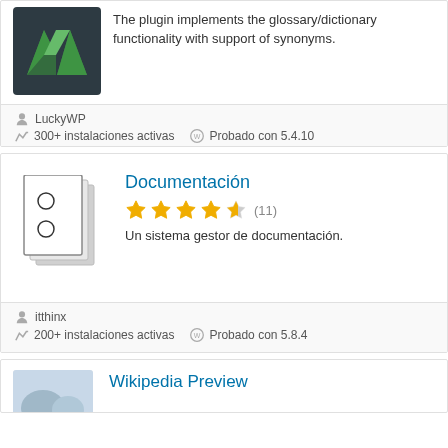[Figure (logo): Green mountain/chevron logo on dark background (plugin icon, partially visible at top)]
The plugin implements the glossary/dictionary functionality with support of synonyms.
LuckyWP
300+ instalaciones activas
Probado con 5.4.10
[Figure (illustration): Document/binder icon - two overlapping document pages with circles on them]
Documentación
(11) stars rating - 4.5 out of 5
Un sistema gestor de documentación.
itthinx
200+ instalaciones activas
Probado con 5.8.4
Wikipedia Preview